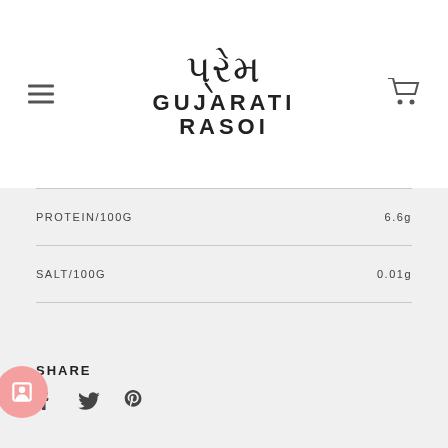પ્રેમ GUJARATI RASOI
| Nutrient | Value |
| --- | --- |
| PROTEIN/100G | 6.6g |
| SALT/100G | 0.01g |
SHARE
[Figure (infographic): Social share icons: Facebook (f), Twitter (bird), Pinterest (P)]